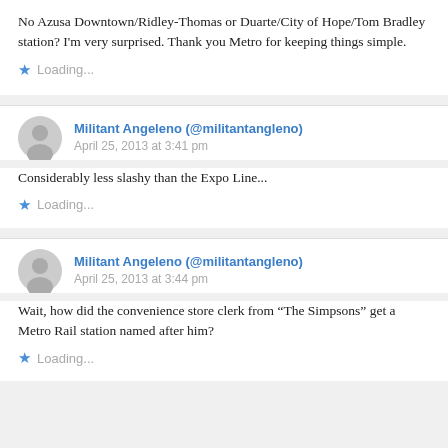No Azusa Downtown/Ridley-Thomas or Duarte/City of Hope/Tom Bradley station? I'm very surprised. Thank you Metro for keeping things simple.
Loading...
Militant Angeleno (@militantangleno)
April 25, 2013 at 3:41 pm
Considerably less slashy than the Expo Line...
Loading...
Militant Angeleno (@militantangleno)
April 25, 2013 at 3:44 pm
Wait, how did the convenience store clerk from “The Simpsons” get a Metro Rail station named after him?
Loading...